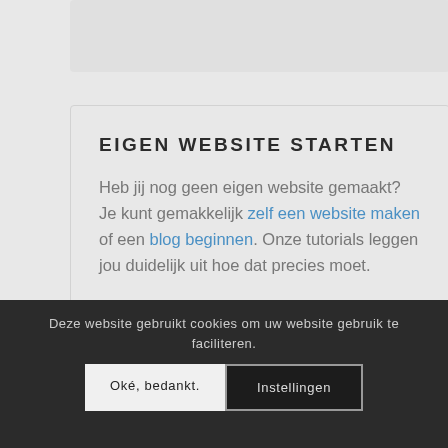EIGEN WEBSITE STARTEN
Heb jij nog geen eigen website gemaakt? Je kunt gemakkelijk zelf een website maken of een blog beginnen. Onze tutorials leggen jou duidelijk uit hoe dat precies moet.
Deze website gebruikt cookies om uw websitegebruik te faciliteren.
Oké, bedankt.
Instellingen
© Auteursrecht   Contact   Dis...